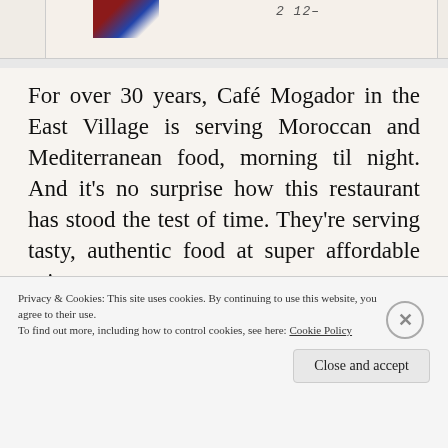[Figure (photo): Partial view of a person and handwritten text '2 12...' on a light background, cropped at top of page]
For over 30 years, Café Mogador in the East Village is serving Moroccan and Mediterranean food, morning til night. And it's no surprise how this restaurant has stood the test of time. They're serving tasty, authentic food at super affordable prices.
Privacy & Cookies: This site uses cookies. By continuing to use this website, you agree to their use.
To find out more, including how to control cookies, see here: Cookie Policy
Close and accept